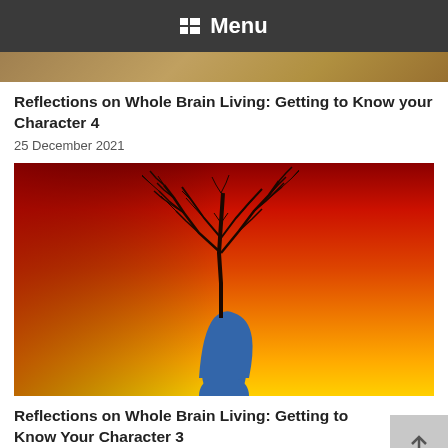Menu
[Figure (photo): Partial top strip of a cropped image, brownish/golden tones]
Reflections on Whole Brain Living: Getting to Know your Character 4
25 December 2021
[Figure (illustration): Painting of a blue human silhouette profile with bare trees growing from the head against a red-orange-yellow gradient sunset background]
Reflections on Whole Brain Living: Getting to Know Your Character 3
24 December 2021